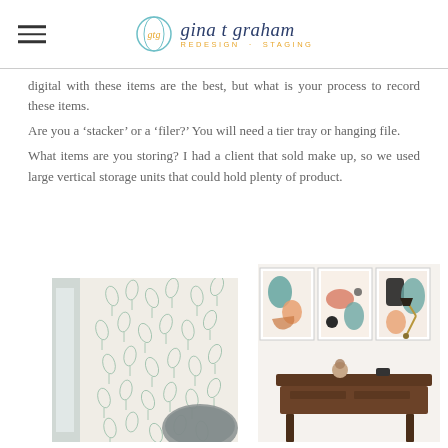gina t graham REDESIGN · STAGING
digital with these items are the best, but what is your process to record these items.
Are you a ‘stacker’ or a ‘filer?’ You will need a tier tray or hanging file.
What items are you storing? I had a client that sold make up, so we used large vertical storage units that could hold plenty of product.
[Figure (photo): Interior photo showing a room with green botanical leaf-pattern wallpaper and a grey cushion/chair]
[Figure (photo): Abstract art prints hung on wall above a mid-century modern dark wood desk with a lamp and decorative objects]